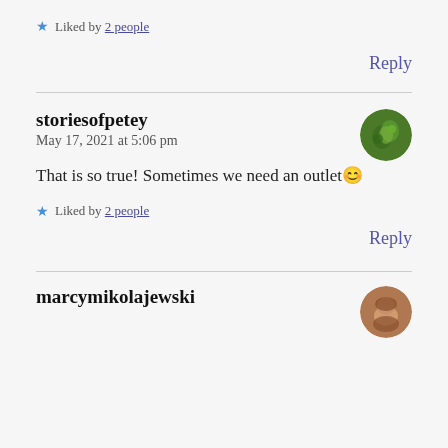★ Liked by 2 people
Reply
storiesofpetey
May 17, 2021 at 5:06 pm
That is so true! Sometimes we need an outlet 😊
★ Liked by 2 people
Reply
marcymikolajewski